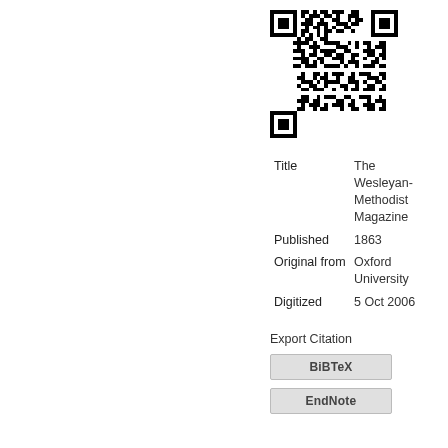[Figure (other): QR code for The Wesleyan-Methodist Magazine, digitized by Oxford University, 1863]
| Title | The Wesleyan-Methodist Magazine |
| Published | 1863 |
| Original from | Oxford University |
| Digitized | 5 Oct 2006 |
Export Citation
BiBTeX
EndNote